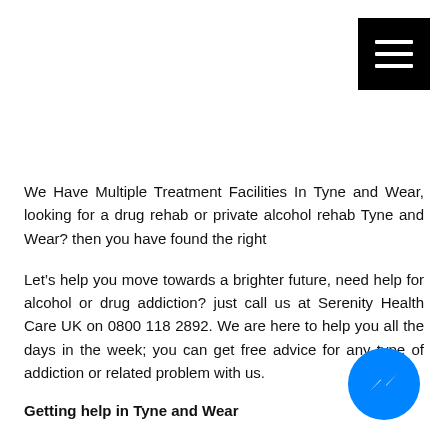[Figure (other): Black hamburger menu icon button with three white horizontal lines, positioned in the top-right corner]
We Have Multiple Treatment Facilities In Tyne and Wear, looking for a drug rehab or private alcohol rehab Tyne and Wear? then you have found the right
Let’s help you move towards a brighter future, need help for alcohol or drug addiction? just call us at Serenity Health Care UK on 0800 118 2892. We are here to help you all the days in the week; you can get free advice for any type of addiction or related problem with us.
[Figure (logo): Facebook Messenger blue circle icon with white lightning bolt/messenger logo]
Getting help in Tyne and Wear